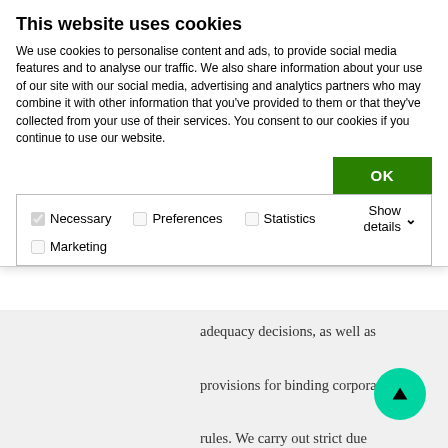This website uses cookies
We use cookies to personalise content and ads, to provide social media features and to analyse our traffic. We also share information about your use of our site with our social media, advertising and analytics partners who may combine it with other information that you've provided to them or that they've collected from your use of their services. You consent to our cookies if you continue to use our website.
| Checkboxes | Show details |
| --- | --- |
| ✓ Necessary  ☐ Preferences  ☐ Statistics | Show details ∨ |
| ☐ Marketing |  |
adequacy decisions, as well as provisions for binding corporate rules. We carry out strict due diligence checks with all recipients of personal data to assess and verify that they have appropriate safeguards in place to protect the information, ensure enforceable